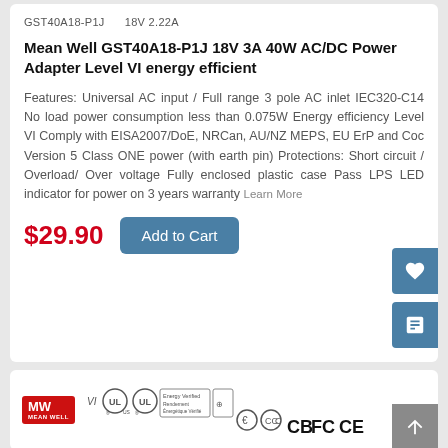GST40A18-P1J    18V 2.22A
Mean Well GST40A18-P1J 18V 3A 40W AC/DC Power Adapter Level VI energy efficient
Features: Universal AC input / Full range 3 pole AC inlet IEC320-C14 No load power consumption less than 0.075W Energy efficiency Level VI Comply with EISA2007/DoE, NRCan, AU/NZ MEPS, EU ErP and Coc Version 5 Class ONE power (with earth pin) Protections: Short circuit / Overload/ Over voltage Fully enclosed plastic case Pass LPS LED indicator for power on 3 years warranty Learn More
$29.90
Add to Cart
[Figure (logo): Mean Well certification logos: MW MEAN WELL logo, VI, UL, Energy Verified, CCC, CB, FC, CE marks]